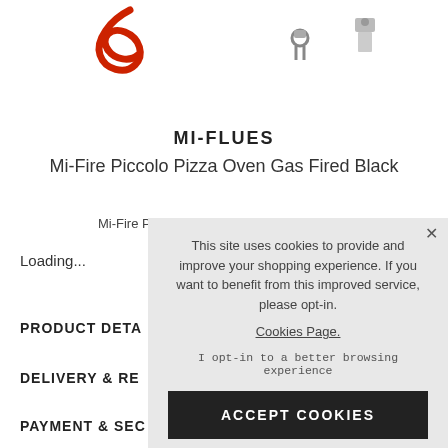[Figure (photo): Partial view of gas oven accessories / hose fittings on white background]
MI-FLUES
Mi-Fire Piccolo Pizza Oven Gas Fired Black
Mi-Fire Piccolo Pizza Oven Gas Fired Black
Loading...
PRODUCT DETA
DELIVERY & RE
PAYMENT & SEC
This site uses cookies to provide and improve your shopping experience. If you want to benefit from this improved service, please opt-in.
Cookies Page.
I opt-in to a better browsing experience
ACCEPT COOKIES